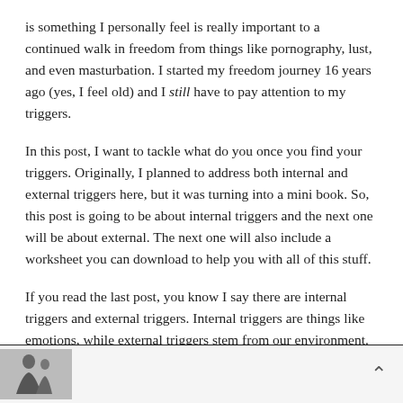is something I personally feel is really important to a continued walk in freedom from things like pornography, lust, and even masturbation. I started my freedom journey 16 years ago (yes, I feel old) and I still have to pay attention to my triggers.
In this post, I want to tackle what do you once you find your triggers. Originally, I planned to address both internal and external triggers here, but it was turning into a mini book. So, this post is going to be about internal triggers and the next one will be about external. The next one will also include a worksheet you can download to help you with all of this stuff.
If you read the last post, you know I say there are internal triggers and external triggers. Internal triggers are things like emotions, while external triggers stem from our environment.
[Figure (photo): Small thumbnail photo of a person, appears to be a black and white image, partially visible at bottom left of page.]